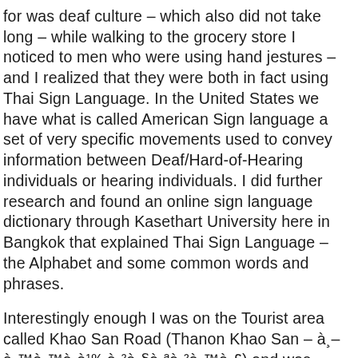for was deaf culture – which also did not take long – while walking to the grocery store I noticed to men who were using hand jestures – and I realized that they were both in fact using Thai Sign Language. In the United States we have what is called American Sign language a set of very specific movements used to convey information between Deaf/Hard-of-Hearing individuals or hearing individuals. I did further research and found an online sign language dictionary through Kasethart University here in Bangkok that explained Thai Sign Language – the Alphabet and some common words and phrases.
Interestingly enough I was on the Tourist area called Khao San Road (Thanon Khao San – à¸–à¸™à¸™à¸à¹‰à¸²à¸§à¸ªà¸²à¸™à¸£) and was approached by a man who was deaf selling temporary tattoos – you